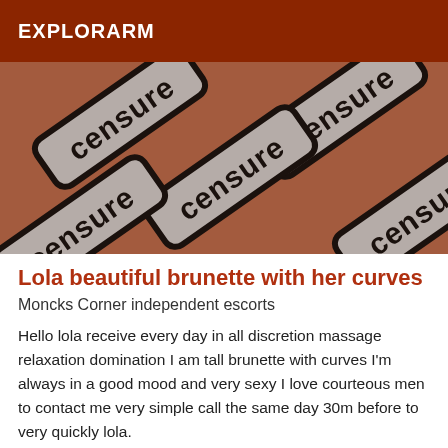EXPLORARM
[Figure (photo): Repeated 'censure' stamp tiles at an angle on a skin-toned background, with white rounded-rectangle stamps bearing the word 'censure' in black letters, arranged diagonally.]
Lola beautiful brunette with her curves
Moncks Corner independent escorts
Hello lola receive every day in all discretion massage relaxation domination I am tall brunette with curves I'm always in a good mood and very sexy I love courteous men to contact me very simple call the same day 30m before to very quickly lola.